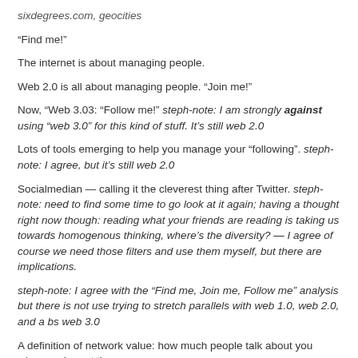sixdegrees.com, geocities
“Find me!”
The internet is about managing people.
Web 2.0 is all about managing people. “Join me!”
Now, “Web 3.03: “Follow me!” steph-note: I am strongly against using “web 3.0” for this kind of stuff. It’s still web 2.0
Lots of tools emerging to help you manage your “following”. steph-note: I agree, but it’s still web 2.0
Socialmedian — calling it the cleverest thing after Twitter. steph-note: need to find some time to go look at it again; having a thought right now though: reading what your friends are reading is taking us towards homogenous thinking, where’s the diversity? — I agree of course we need those filters and use them myself, but there are implications.
steph-note: I agree with the “Find me, Join me, Follow me” analysis but there is not use trying to stretch parallels with web 1.0, web 2.0, and a bs web 3.0
A definition of network value: how much people talk about you when you’re not there.